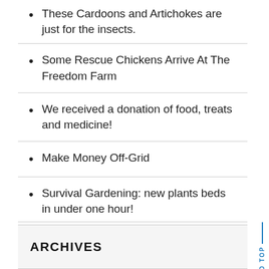These Cardoons and Artichokes are just for the insects.
Some Rescue Chickens Arrive At The Freedom Farm
We received a donation of food, treats and medicine!
Make Money Off-Grid
Survival Gardening: new plants beds in under one hour!
ARCHIVES